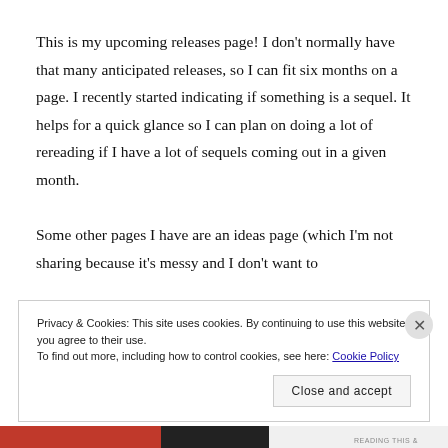This is my upcoming releases page! I don't normally have that many anticipated releases, so I can fit six months on a page. I recently started indicating if something is a sequel. It helps for a quick glance so I can plan on doing a lot of rereading if I have a lot of sequels coming out in a given month.

Some other pages I have are an ideas page (which I'm not sharing because it's messy and I don't want to
Privacy & Cookies: This site uses cookies. By continuing to use this website, you agree to their use.
To find out more, including how to control cookies, see here: Cookie Policy
Close and accept